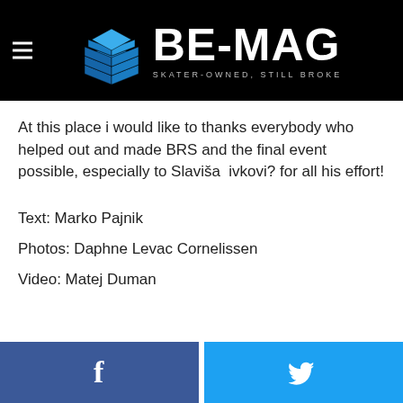BE-MAG — SKATER-OWNED, STILL BROKE
At this place i would like to thanks everybody who helped out and made BRS and the final event possible, especially to Slaviša ivkovi? for all his effort!
Text: Marko Pajnik
Photos: Daphne Levac Cornelissen
Video: Matej Duman
[Figure (other): Facebook and Twitter share buttons at the bottom of the page]